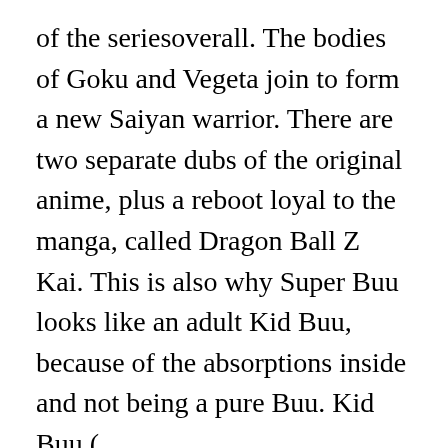of the seriesoverall. The bodies of Goku and Vegeta join to form a new Saiyan warrior. There are two separate dubs of the original anime, plus a reboot loyal to the manga, called Dragon Ball Z Kai. This is also why Super Buu looks like an adult Kid Buu, because of the absorptions inside and not being a pure Buu. Kid Buu ( , Majin Bū Junsui; lit. Hercule does this and Goku throws the Spirit Bomb, but it's just not enough. Episode # Episode Title Original airdate Prod. RE: What episode in DragonBall Z Does The Majin Buu saga Start? It turns out Kid Buu had God Ki hidden within him, but the question now is whether or not he used it way back when. Kid Buu is original Buu with no one absorbed into his being, and is not a physical